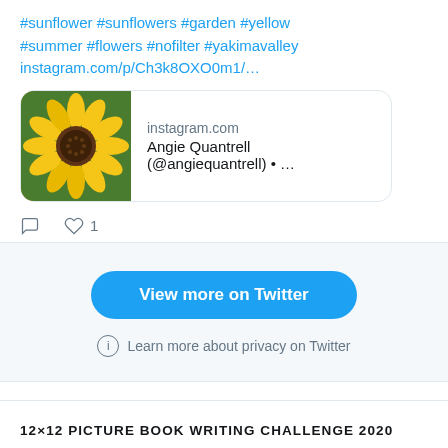#sunflower #sunflowers #garden #yellow #summer #flowers #nofilter #yakimavalley instagram.com/p/Ch3k8OXO0m1/…
[Figure (screenshot): Link preview card showing a sunflower photo thumbnail on the left and instagram.com with text 'Angie Quantrell (@angiequantrell) • ...' on the right]
View more on Twitter
Learn more about privacy on Twitter
12×12 PICTURE BOOK WRITING CHALLENGE 2020
[Figure (illustration): Illustrated image showing flying paper/book pages above an orange tablet or book device]